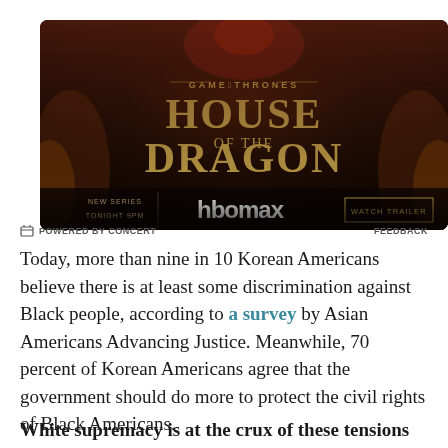[Figure (photo): Advertisement for HBO Max series 'House of the Dragon' (Game of Thrones prequel). Dark fantasy background with gold serif title text reading 'GAME OF THRONES HOUSE OF THE DRAGON'. Bottom bar shows 'NEW SERIES TONIGHT 9PM', HBO Max logo, and 'WATCH TRAILER' button.]
POWERED BY CONCERT   FEEDBACK
Today, more than nine in 10 Korean Americans believe there is at least some discrimination against Black people, according to a survey by Asian Americans Advancing Justice. Meanwhile, 70 percent of Korean Americans agree that the government should do more to protect the civil rights of Black Americans.
White supremacy is at the crux of these tensions